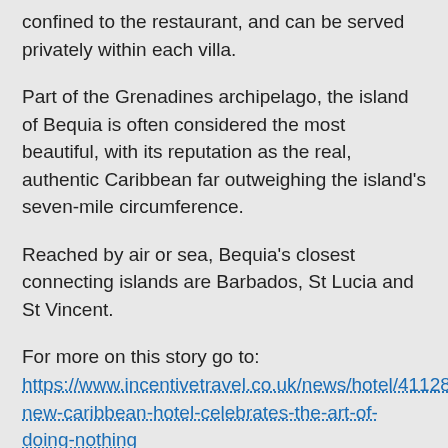confined to the restaurant, and can be served privately within each villa.
Part of the Grenadines archipelago, the island of Bequia is often considered the most beautiful, with its reputation as the real, authentic Caribbean far outweighing the island’s seven-mile circumference.
Reached by air or sea, Bequia’s closest connecting islands are Barbados, St Lucia and St Vincent.
For more on this story go to: https://www.incentivetravel.co.uk/news/hotel/41128-new-caribbean-hotel-celebrates-the-art-of-doing-nothing
IMAGE: www.thelimingbequia.com